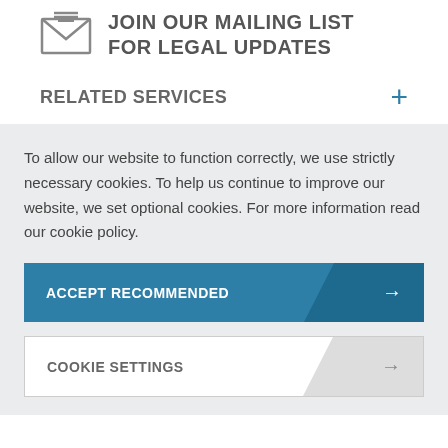[Figure (illustration): Envelope/mail icon above mailing list text]
JOIN OUR MAILING LIST FOR LEGAL UPDATES
RELATED SERVICES
To allow our website to function correctly, we use strictly necessary cookies. To help us continue to improve our website, we set optional cookies. For more information read our cookie policy.
ACCEPT RECOMMENDED
COOKIE SETTINGS